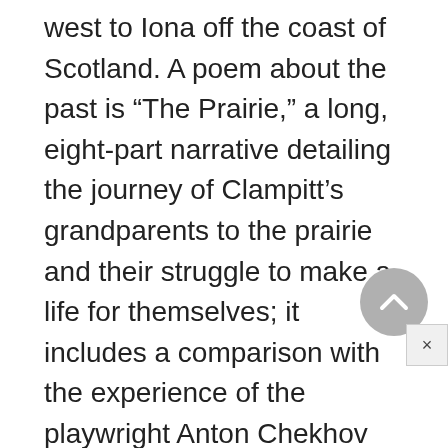west to Iona off the coast of Scotland. A poem about the past is “The Prairie,” a long, eight-part narrative detailing the journey of Clampitt’s grandparents to the prairie and their struggle to make a life for themselves; it includes a comparison with the experience of the playwright Anton Chekhov on the Russian steppes.
The heart of Clampitt’s fifth volume of poetry, A Silence Opens (1994), is “A Silence,” which the critic Harold Bloom